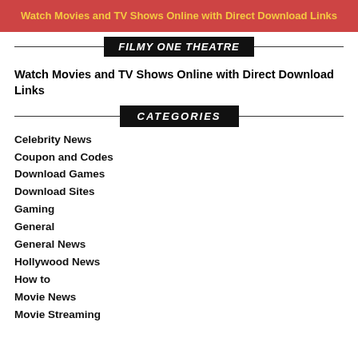Watch Movies and TV Shows Online with Direct Download Links
FILMY ONE THEATRE
Watch Movies and TV Shows Online with Direct Download Links
CATEGORIES
Celebrity News
Coupon and Codes
Download Games
Download Sites
Gaming
General
General News
Hollywood News
How to
Movie News
Movie Streaming